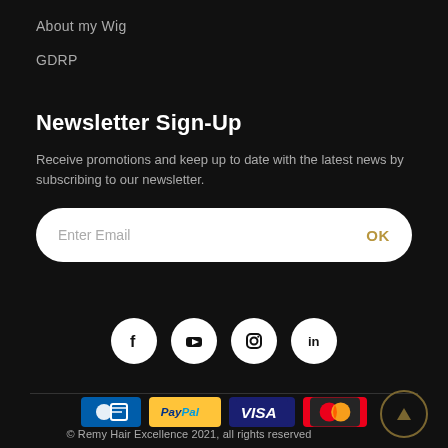About my Wig
GDRP
Newsletter Sign-Up
Receive promotions and keep up to date with the latest news by subscribing to our newsletter.
Enter Email  OK
[Figure (other): Social media icons row: Facebook, YouTube, Instagram, LinkedIn]
[Figure (other): Payment method logos: CB, PayPal, VISA, MasterCard]
© Remy Hair Excellence 2021, all rights reserved